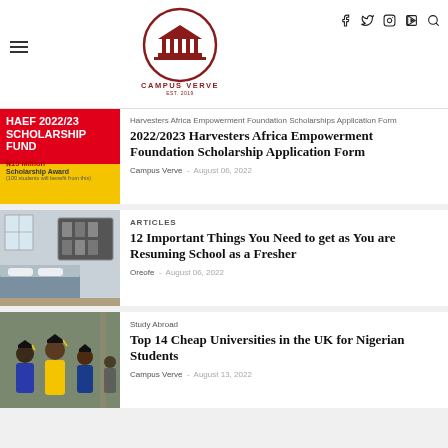Campus Verve - EST. 2019
[Figure (illustration): Campus Verve logo with building/columns icon in a circle, dark red color]
f  twitter  instagram  youtube  search icons
Harvesters Africa Empowerment Foundation Scholarships Application Form
2022/2023 Harvesters Africa Empowerment Foundation Scholarship Application Form
Campus Verve  -  August 06, 2022
ARTICLES
12 Important Things You Need to get as You are Resuming School as a Fresher
Oreofe  -  August 06, 2022
Study Abroad
Top 14 Cheap Universities in the UK for Nigerian Students
Campus Verve  -  August 13, 2022